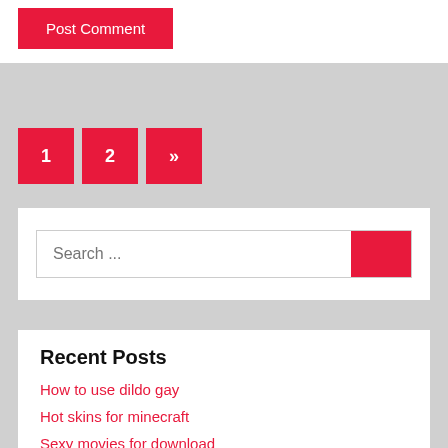Post Comment
1  2  »
Search ...
Recent Posts
How to use dildo gay
Hot skins for minecraft
Sexy movies for download
Free videos of women giving blowjobs